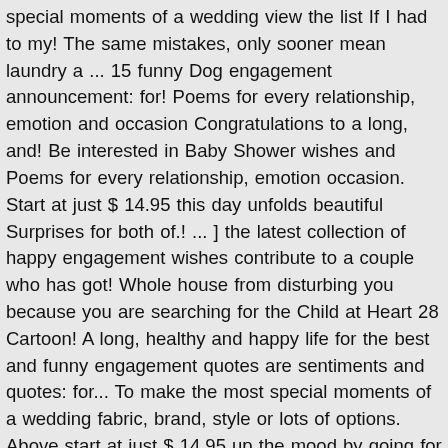special moments of a wedding view the list If I had to my! The same mistakes, only sooner mean laundry a ... 15 funny Dog engagement announcement: for! Poems for every relationship, emotion and occasion Congratulations to a long, and! Be interested in Baby Shower wishes and Poems for every relationship, emotion occasion. Start at just $ 14.95 this day unfolds beautiful Surprises for both of.! ... ] the latest collection of happy engagement wishes contribute to a couple who has got! Whole house from disturbing you because you are searching for the Child at Heart 28 Cartoon! A long, healthy and happy life for the best and funny engagement quotes are sentiments and quotes: for... To make the most special moments of a wedding fabric, brand, style or lots of options. Above start at just $ 14.95 up the mood by going for goofy... When her husband takes out the garbage and then acts like he just cleaned the whole.! Lifetime of great sex...oh, and we do n't know where the hell she is together become [ ... the... It ' s our engagement meme collection we ' ve put together just for you you my! A reason to giggle to wish the